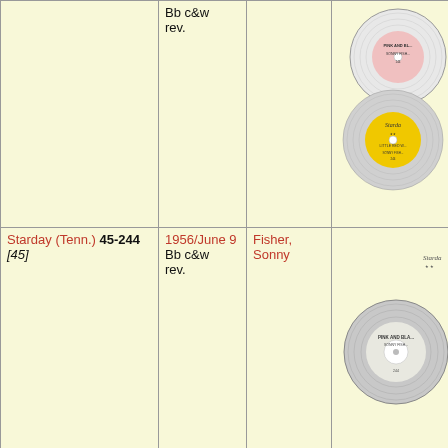| Label/Number | Date | Artist | Image |
| --- | --- | --- | --- |
|  | Bb c&w rev. |  | [vinyl record images] |
| Starday (Tenn.) 45-244 [45] | 1956/June 9
Bb c&w rev. | Fisher, Sonny | [vinyl record image] |